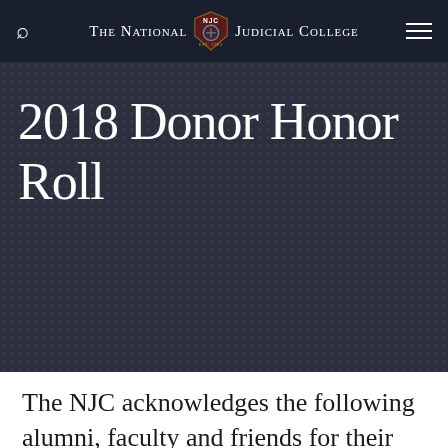The National Judicial College
2018 Donor Honor Roll
The NJC acknowledges the following alumni, faculty and friends for their